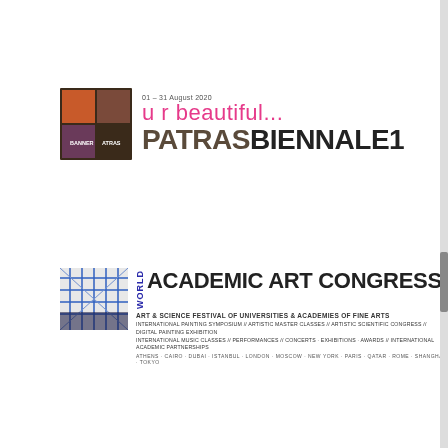[Figure (logo): Patras Biennale 1 logo with colored quadrant squares (orange, brown, purple, dark) and text 'u r beautiful... PATRAS BIENNALE 1' with date '01 - 31 August 2020']
[Figure (logo): World Academic Art Congress logo with blue grid graphic and text including 'ART & SCIENCE FESTIVAL of UNIVERSITIES & ACADEMIES of FINE ARTS', activities list, and city names]